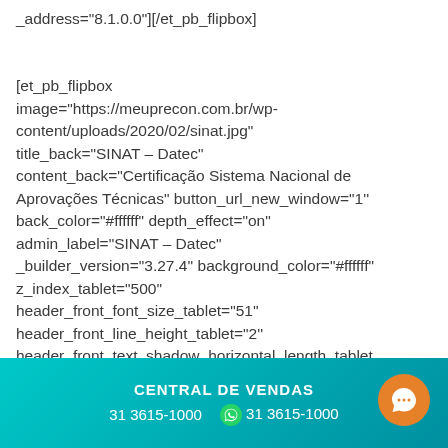_address="8.1.0.0"][/et_pb_flipbox]

[et_pb_flipbox image="https://meuprecon.com.br/wp-content/uploads/2020/02/sinat.jpg" title_back="SINAT – Datec" content_back="Certificação Sistema Nacional de Aprovações Técnicas" button_url_new_window="1'' back_color="#ffffff" depth_effect="on" admin_label="SINAT – Datec" _builder_version="3.27.4'' background_color="#ffffff" z_index_tablet="500'' header_front_font_size_tablet="51'' header_front_line_height_tablet="2'' header_front_text_shadow_horizontal_length_tablet
CENTRAL DE VENDAS
31 3615-1000   31 3615-1000